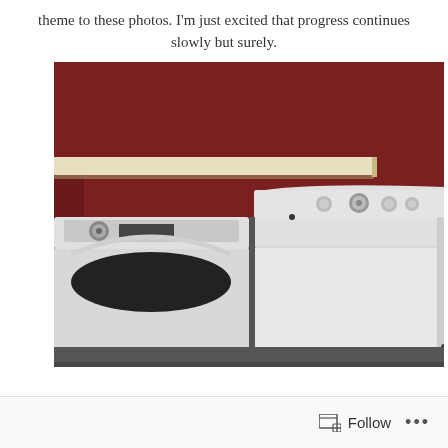theme to these photos. I'm just excited that progress continues slowly but surely.
[Figure (photo): A laundry room with dark red/maroon walls, a white wooden shelf above, and two white top-loading washer and dryer appliances side by side.]
Follow ...